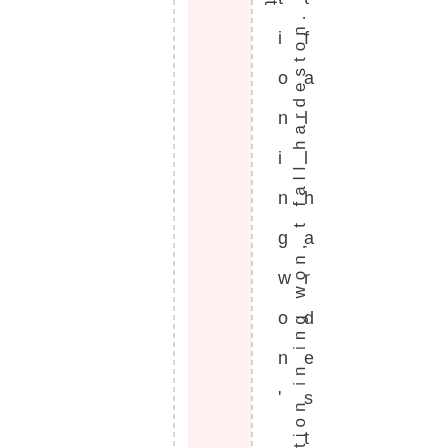[Figure (other): Page layout with two dashed vertical lines, a pink highlighted column strip, and rotated vertical text reading 'tion in ing won, t fall hardeston.' arranged from top to bottom along the right side of the page.]